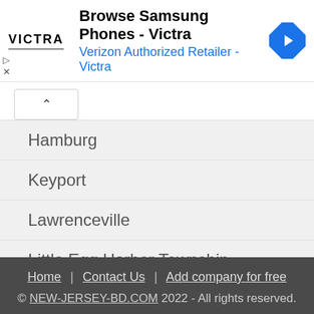[Figure (screenshot): Advertisement banner for Victra - Browse Samsung Phones, Verizon Authorized Retailer]
Hamburg
Keyport
Lawrenceville
Little Egg Harbor Township
Marlboro
Marmora
Home | Contact Us | Add company for free
© NEW-JERSEY-BD.COM 2022 - All rights reserved.